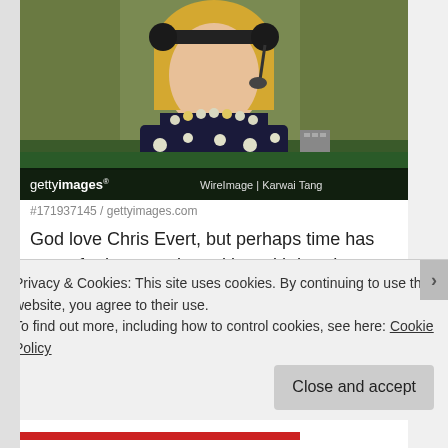[Figure (photo): Woman with blonde hair wearing a dark polka-dot top and pearl/bead necklace, speaking into a headset microphone. Getty Images / WireImage | Karwai Tang watermark visible at bottom of image.]
#171937145 / gettyimages.com
God love Chris Evert, but perhaps time has come for her to retire, taking with her those outlandish colored print dresses. Some of her work might be valid and is certainly an improvement from her first verbal volleys
Privacy & Cookies: This site uses cookies. By continuing to use this website, you agree to their use.
To find out more, including how to control cookies, see here: Cookie Policy
Close and accept